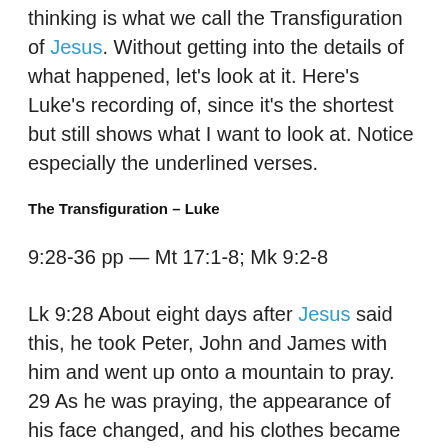thinking is what we call the Transfiguration of Jesus. Without getting into the details of what happened, let's look at it. Here's Luke's recording of, since it's the shortest but still shows what I want to look at. Notice especially the underlined verses.
The Transfiguration – Luke
9:28-36 pp — Mt 17:1-8; Mk 9:2-8
Lk 9:28 About eight days after Jesus said this, he took Peter, John and James with him and went up onto a mountain to pray. 29 As he was praying, the appearance of his face changed, and his clothes became as bright as a flash of lightning. 30 Two men, Moses and Elijah, 31 appeared in glorious splendor talking with Jesus. They spoke about his